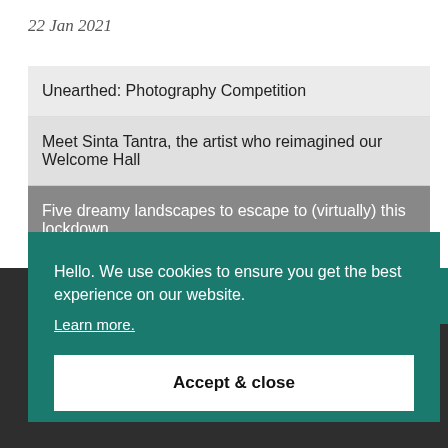22 Jan 2021
Unearthed: Photography Competition
Meet Sinta Tantra, the artist who reimagined our Welcome Hall
Five dreamy landscapes to escape to (virtually) this lockdown
Hello. We use cookies to ensure you get the best experience on our website. Learn more.
Accept & close
Menu   Login   Ticket Basket   Search